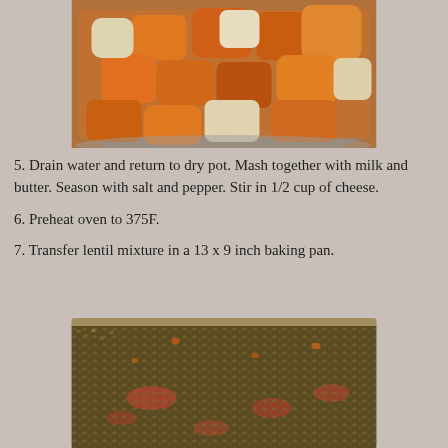[Figure (photo): A metal bowl filled with chunked sweet potatoes and potatoes/turnips, orange and white pieces.]
5. Drain water and return to dry pot. Mash together with milk and butter. Season with salt and pepper. Stir in 1/2 cup of cheese.
6. Preheat oven to 375F.
7. Transfer lentil mixture in a 13 x 9 inch baking pan.
[Figure (photo): A glass baking pan filled with lentil mixture — brown, grainy lentils with visible red tomato pieces.]